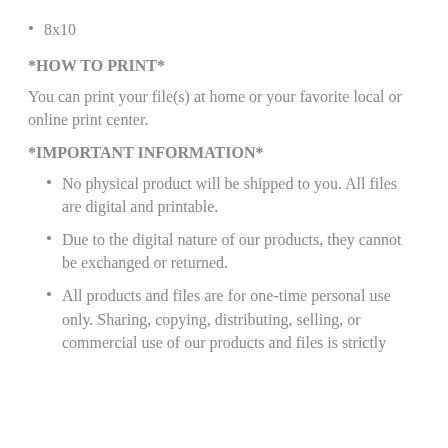8x10
*HOW TO PRINT*
You can print your file(s) at home or your favorite local or online print center.
*IMPORTANT INFORMATION*
No physical product will be shipped to you. All files are digital and printable.
Due to the digital nature of our products, they cannot be exchanged or returned.
All products and files are for one-time personal use only. Sharing, copying, distributing, selling, or commercial use of our products and files is strictly